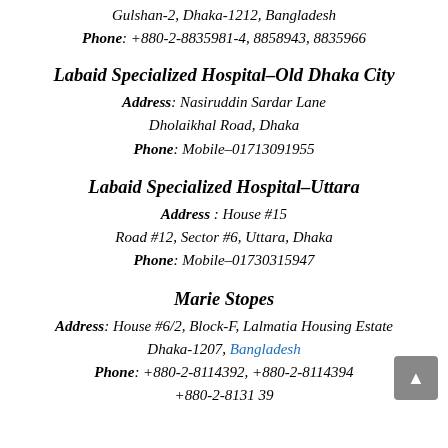Gulshan-2, Dhaka-1212, Bangladesh
Phone: +880-2-8835981-4, 8858943, 8835966
Labaid Specialized Hospital–Old Dhaka City
Address: Nasiruddin Sardar Lane Dholaikhal Road, Dhaka
Phone: Mobile–01713091955
Labaid Specialized Hospital–Uttara
Address : House #15
Road #12, Sector #6, Uttara, Dhaka
Phone: Mobile–01730315947
Marie Stopes
Address: House #6/2, Block-F, Lalmatia Housing Estate Dhaka-1207, Bangladesh
Phone: +880-2-8114392, +880-2-8114394
+880-2-8131 39...